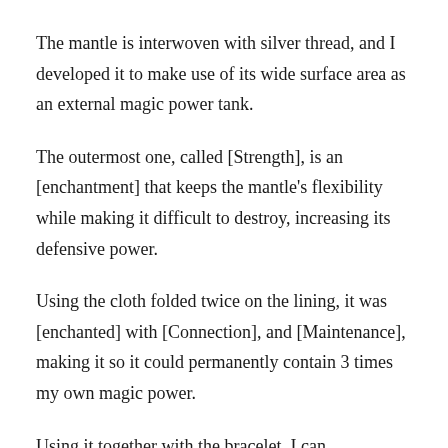The mantle is interwoven with silver thread, and I developed it to make use of its wide surface area as an external magic power tank.
The outermost one, called [Strength], is an [enchantment] that keeps the mantle's flexibility while making it difficult to destroy, increasing its defensive power.
Using the cloth folded twice on the lining, it was [enchanted] with [Connection], and [Maintenance], making it so it could permanently contain 3 times my own magic power.
Using it together with the bracelet, I can successfully increase the effective time of [Body reinforcement] to 4 times the regular length. So roughly 30 minutes.